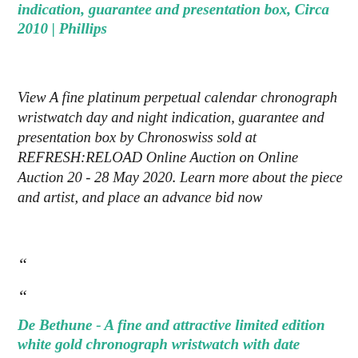indication, guarantee and presentation box, Circa 2010 | Phillips
View A fine platinum perpetual calendar chronograph wristwatch day and night indication, guarantee and presentation box by Chronoswiss sold at REFRESH:RELOAD Online Auction on Online Auction 20 - 28 May 2020. Learn more about the piece and artist, and place an advance bid now
“
“
De Bethune - A fine and attractive limited edition white gold chronograph wristwatch with date